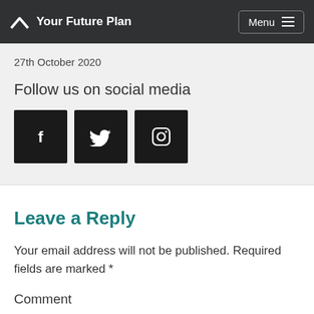Your Future Plan | Menu
27th October 2020
Follow us on social media
[Figure (infographic): Three social media icon buttons: Facebook (f), Twitter (bird), Instagram (camera)]
Leave a Reply
Your email address will not be published. Required fields are marked *
Comment